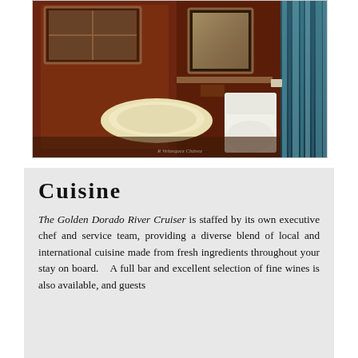[Figure (photo): Interior bathroom of the Golden Dorado River Cruiser boat cabin, showing warm wooden walls, a white sink basin, a toilet, a mirror, a window, and a striped shower curtain in blue and teal tones. A watermark reads 'R Velasquez Chávez'.]
Cuisine
The Golden Dorado River Cruiser is staffed by its own executive chef and service team, providing a diverse blend of local and international cuisine made from fresh ingredients throughout your stay on board. A full bar and excellent selection of fine wines is also available, and guests